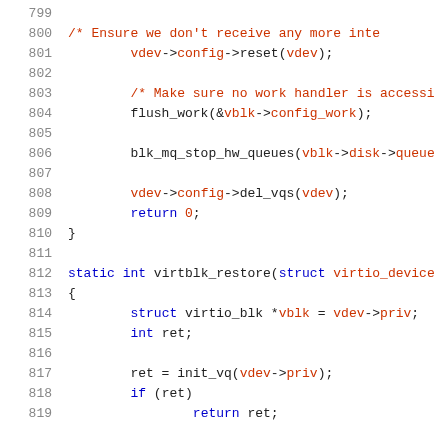Source code listing, lines 799-819, virtblk_restore function
799
800  /* Ensure we don't receive any more inte
801  vdev->config->reset(vdev);
802
803  /* Make sure no work handler is accessi
804  flush_work(&vblk->config_work);
805
806  blk_mq_stop_hw_queues(vblk->disk->queue
807
808  vdev->config->del_vqs(vdev);
809  return 0;
810  }
811
812  static int virtblk_restore(struct virtio_device
813  {
814  struct virtio_blk *vblk = vdev->priv;
815  int ret;
816
817  ret = init_vq(vdev->priv);
818  if (ret)
819          return ret;